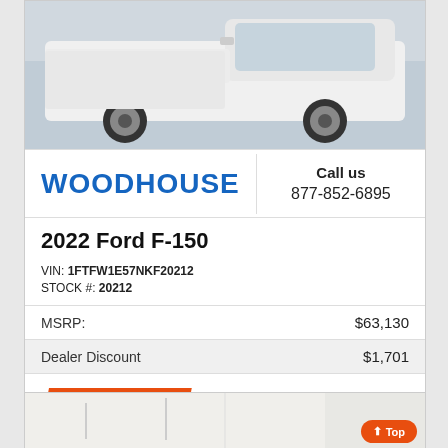[Figure (photo): White 2022 Ford F-150 truck front view on white background]
[Figure (logo): Woodhouse dealer logo in bold blue text]
Call us
877-852-6895
2022 Ford F-150
VIN: 1FTFW1E57NKF20212
STOCK #: 20212
| MSRP: | $63,130 |
| Dealer Discount | $1,701 |
CLICK HERE
$61,429
[Figure (photo): Interior garage or showroom scene, partially visible]